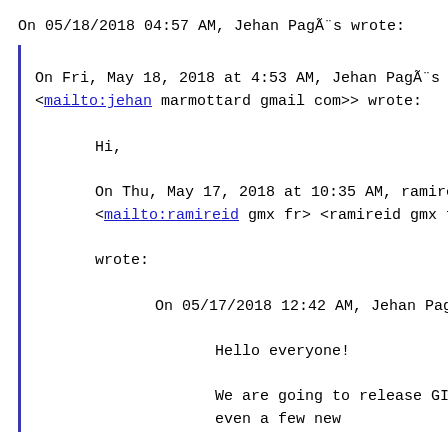On 05/18/2018 04:57 AM, Jehan PagÃ¨s wrote:
On Fri, May 18, 2018 at 4:53 AM, Jehan PagÃ¨s <jeh <mailto:jehan marmottard gmail com>> wrote:
Hi,
On Thu, May 17, 2018 at 10:35 AM, ramireid gmx <mailto:ramireid gmx fr> <ramireid gmx fr <mai wrote:
On 05/17/2018 12:42 AM, Jehan PagÃ¨s wrote:
Hello everyone!
We are going to release GIMP 2.10.2 wi even a few new